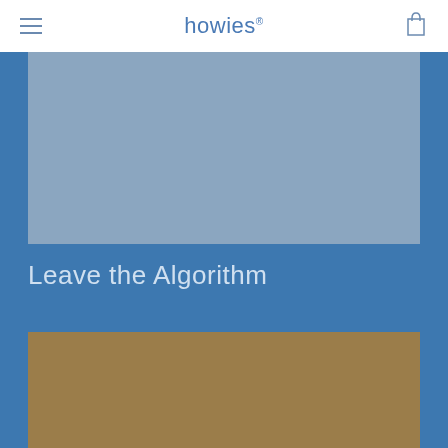howies®
[Figure (photo): A grey-blue colored image area showing outdoor/clothing content for howies brand]
Leave the Algorithm
[Figure (photo): A tan/brown colored image area showing outdoor/clothing content for howies brand]